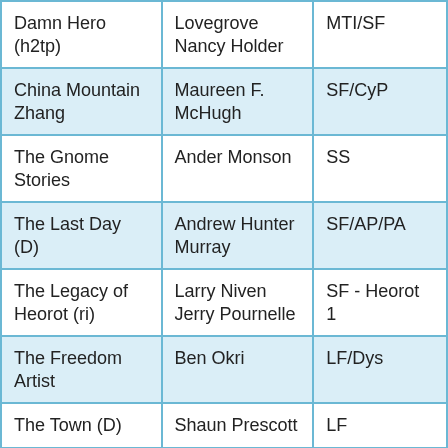| Damn Hero (h2tp) | Lovegrove Nancy Holder | MTI/SF |
| China Mountain Zhang | Maureen F. McHugh | SF/CyP |
| The Gnome Stories | Ander Monson | SS |
| The Last Day (D) | Andrew Hunter Murray | SF/AP/PA |
| The Legacy of Heorot (ri) | Larry Niven Jerry Pournelle | SF - Heorot 1 |
| The Freedom Artist | Ben Okri | LF/Dys |
| The Town (D) | Shaun Prescott | LF |
| Bone Silence (e) | Alastair Reynolds | SF - Revenger Universe 3 |
| Zombie Army: Fortress of the… | Chris Roberson | MTI |